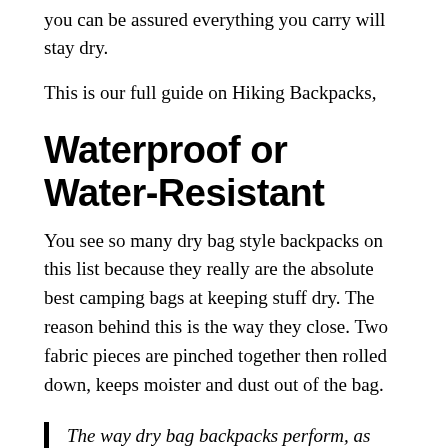you can be assured everything you carry will stay dry.
This is our full guide on Hiking Backpacks,
Waterproof or Water-Resistant
You see so many dry bag style backpacks on this list because they really are the absolute best camping bags at keeping stuff dry. The reason behind this is the way they close. Two fabric pieces are pinched together then rolled down, keeps moister and dust out of the bag.
The way dry bag backpacks perform, as well